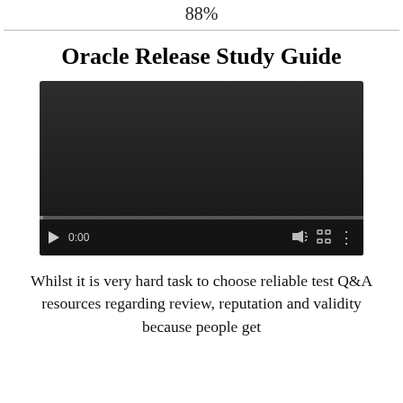88%
Oracle Release Study Guide
[Figure (screenshot): Embedded video player showing a black/dark screen with playback controls at the bottom: play button, timestamp '0:00', volume icon, fullscreen icon, and more options icon. A progress bar is visible near the bottom.]
Whilst it is very hard task to choose reliable test Q&A resources regarding review, reputation and validity because people get